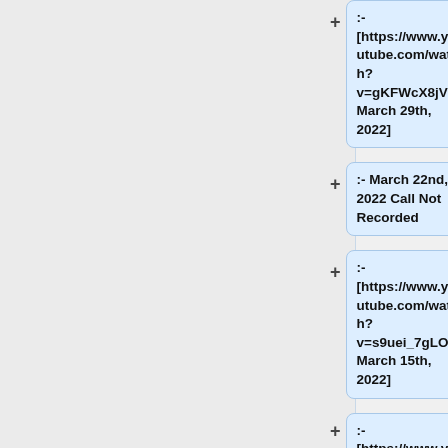:- [https://www.youtube.com/watch?v=gKFWcX8jVf8 March 29th, 2022]
:- March 22nd, 2022 Call Not Recorded
:- [https://www.youtube.com/watch?v=s9uei_7gLOM March 15th, 2022]
:- [https://www.youtube.com/watc